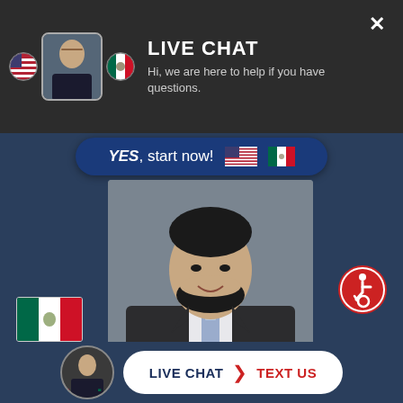LIVE CHAT
Hi, we are here to help if you have questions.
[Figure (screenshot): Live chat widget showing a lawyer's photo, YES start now button with US and Mexico flags, accessibility icon, bottom bar with LIVE CHAT and TEXT US buttons]
YES, start now!
LIVE CHAT  TEXT US